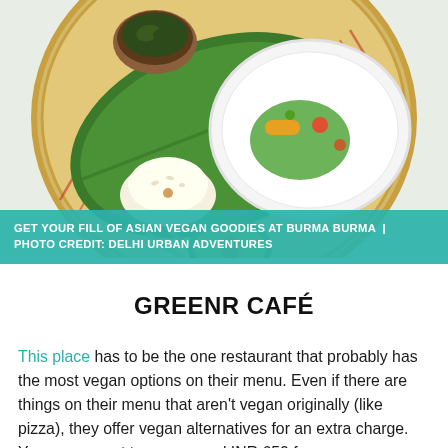[Figure (photo): Overhead view of a bamboo tray with a banana leaf, a white plate of food, a mound of white rice, a wooden bowl of dried greens/tea leaves, chopsticks, and a halved avocado — Asian vegan food presentation at Burma Burma restaurant.]
GET YOUR FILL OF ASIAN VEGAN GOODIES AT BURMA BURMA | PHOTO CREDIT: DELHI URBAN ADVENTURES
GREENR CAFÉ
This place has to be the one restaurant that probably has the most vegan options on their menu. Even if there are things on their menu that aren't vegan originally (like pizza), they offer vegan alternatives for an extra charge. You can expect to pay around INR 650 for one.